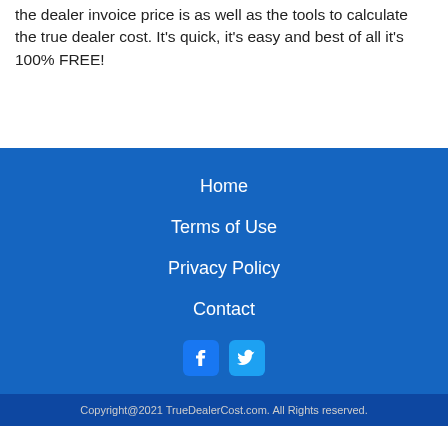the dealer invoice price is as well as the tools to calculate the true dealer cost. It's quick, it's easy and best of all it's 100% FREE!
Home
Terms of Use
Privacy Policy
Contact
[Figure (illustration): Facebook and Twitter social media icons]
Copyright@2021 TrueDealerCost.com. All Rights reserved.